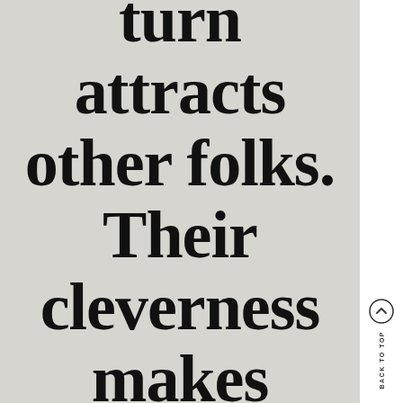turn attracts other folks. Their cleverness makes them more attractive
[Figure (other): Back to top navigation button with upward chevron circle icon and vertical 'BACK TO TOP' text label on white sidebar]